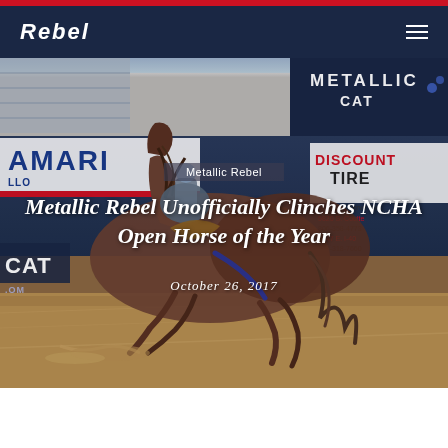REBEL
[Figure (photo): Arena photo of Metallic Rebel horse performing a sliding stop in a cutting competition, with Amarillo and Metallic Cat sponsor banners in background, and Discount Tire advertisement visible]
Metallic Rebel
Metallic Rebel Unofficially Clinches NCHA Open Horse of the Year
October 26, 2017
Metallic Rebel. The name speaks for itself. He is a force in the cutting pen that can seldom be